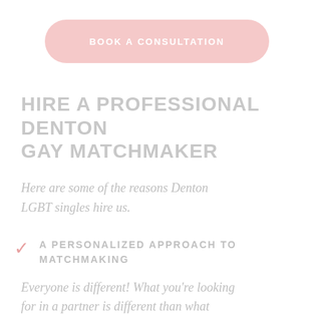[Figure (other): Pink pill-shaped button with text BOOK A CONSULTATION in white bold uppercase letters]
HIRE A PROFESSIONAL DENTON GAY MATCHMAKER
Here are some of the reasons Denton LGBT singles hire us.
A PERSONALIZED APPROACH TO MATCHMAKING
Everyone is different! What you're looking for in a partner is different than what